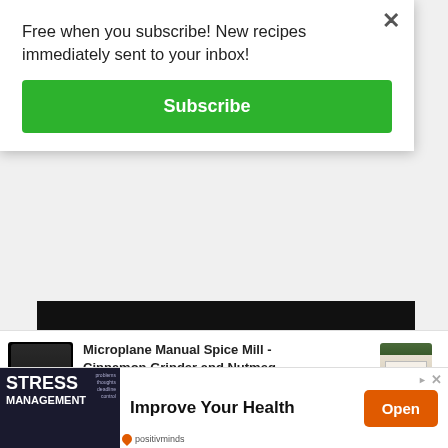Free when you subscribe! New recipes immediately sent to your inbox!
Subscribe
[Figure (screenshot): Black bar representing background webpage content]
[Figure (screenshot): Amazon product ad for Microplane Manual Spice Mill - Cinnamon Grinder and Nutmeg... priced at $21.99 with Prime, 4.5 stars, with product images on both sides]
Microplane Manual Spice Mill - Cinnamon Grinder and Nutmeg...
$21.99
prime
Ads by Amazon
[Figure (screenshot): Advertisement banner for positivminds: Improve Your Health with Open button]